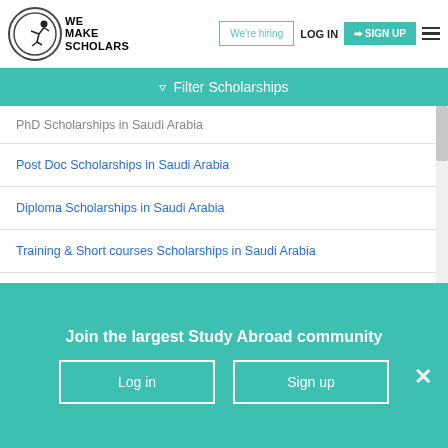[Figure (logo): We Make Scholars logo with circular emblem and text]
We're hiring
LOG IN
SIGN UP
Filter Scholarships
PhD Scholarships in Saudi Arabia
Post Doc Scholarships in Saudi Arabia
Diploma Scholarships in Saudi Arabia
Training & Short courses Scholarships in Saudi Arabia
Conferences & Travel Grants Scholarships in Saudi Arabia
Research Fellow/ Scientist Scholarships in Saudi Arabia
Join the largest Study Abroad community
Log in
Sign up